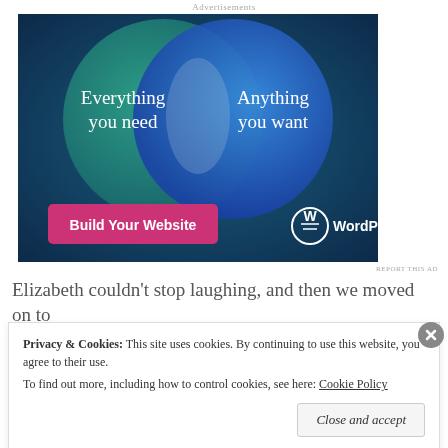Advertisements
[Figure (illustration): WordPress.com advertisement showing two overlapping circles (Venn diagram) on a dark teal/blue background. Left circle (teal) says 'Everything you need', right circle (blue) says 'Anything you want'. A pink button reads 'Build Your Website' and the WordPress.com logo appears at the bottom right.]
REPORT THIS AD
Elizabeth couldn't stop laughing, and then we moved on to
Privacy & Cookies: This site uses cookies. By continuing to use this website, you agree to their use.
To find out more, including how to control cookies, see here: Cookie Policy
Close and accept
REPORT THIS A...